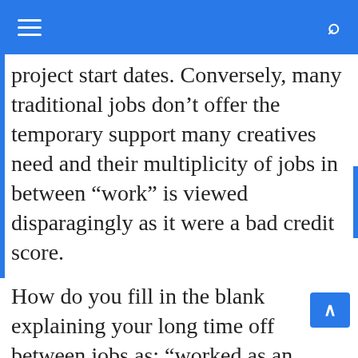≡  [search icon]
project start dates. Conversely, many traditional jobs don't offer the temporary support many creatives need and their multiplicity of jobs in between “work” is viewed disparagingly as it were a bad credit score.
How do you fill in the blank explaining your long time off between jobs as: “worked as an extra for a feature film” or “toured as a lead guitarist for two years”?